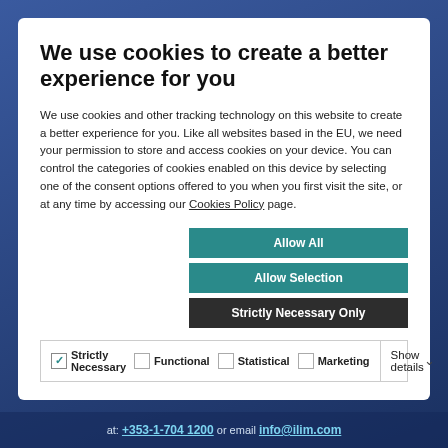We use cookies to create a better experience for you
We use cookies and other tracking technology on this website to create a better experience for you. Like all websites based in the EU, we need your permission to store and access cookies on your device. You can control the categories of cookies enabled on this device by selecting one of the consent options offered to you when you first visit the site, or at any time by accessing our Cookies Policy page.
Allow All
Allow Selection
Strictly Necessary Only
| ☑ Strictly Necessary | ☐ Functional | Show details ˅ |
| ☐ Statistical | ☐ Marketing |  |
at: +353-1-704 1200 or email info@ilim.com